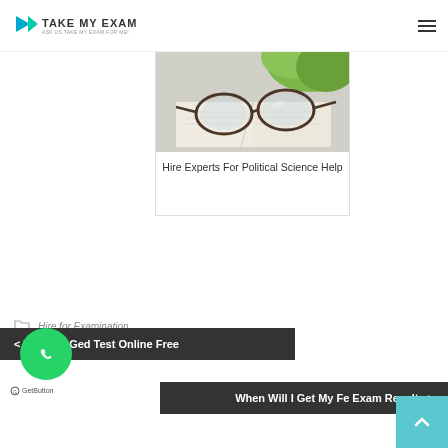TAKE MY EXAM
[Figure (photo): Glasses resting on an open book with a green plant in background]
Hire Experts For Political Science Help
Hire for Examination
< Take My Ged Test Online Free
When Will I Get My Fe Exam Results >